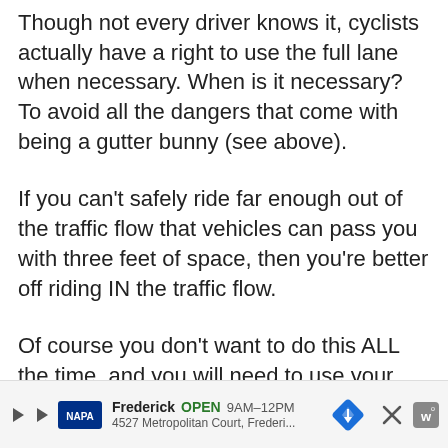Though not every driver knows it, cyclists actually have a right to use the full lane when necessary. When is it necessary? To avoid all the dangers that come with being a gutter bunny (see above).
If you can't safely ride far enough out of the traffic flow that vehicles can pass you with three feet of space, then you're better off riding IN the traffic flow.
Of course you don't want to do this ALL the time, and you will need to use your best
Frederick  OPEN  9AM–12PM  4527 Metropolitan Court, Frederi...